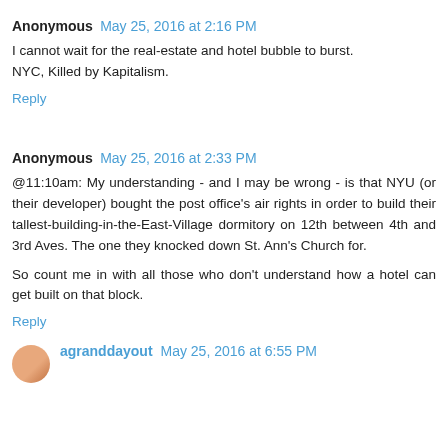Anonymous  May 25, 2016 at 2:16 PM
I cannot wait for the real-estate and hotel bubble to burst. NYC, Killed by Kapitalism.
Reply
Anonymous  May 25, 2016 at 2:33 PM
@11:10am: My understanding - and I may be wrong - is that NYU (or their developer) bought the post office's air rights in order to build their tallest-building-in-the-East-Village dormitory on 12th between 4th and 3rd Aves. The one they knocked down St. Ann's Church for.

So count me in with all those who don't understand how a hotel can get built on that block.
Reply
agranddayout  May 25, 2016 at 6:55 PM